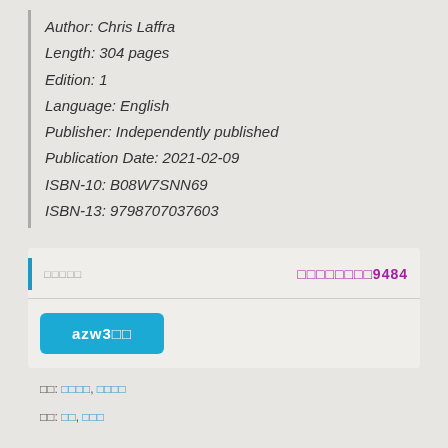Author: Chris Laffra
Length: 304 pages
Edition: 1
Language: English
Publisher: Independently published
Publication Date: 2021-02-09
ISBN-10: B08W7SNN69
ISBN-13: 9798707037603
□□□□□  □□□□□□□□9484
azw3□□
□□: □□□□, □□□□
□□: □□, □□□